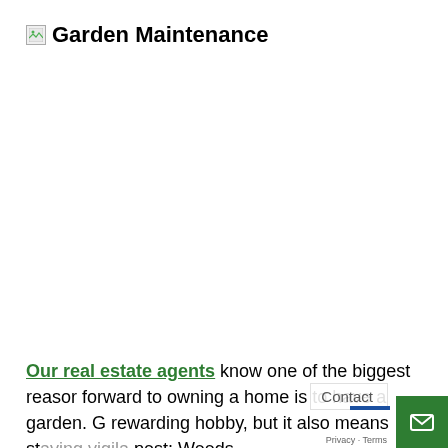[Figure (other): Broken image placeholder icon followed by 'Garden Maintenance' heading text]
Our real estate agents know one of the biggest reason forward to owning a home is to have a garden. G... rewarding hobby, but it also means staying vigila... pest: Weeds.